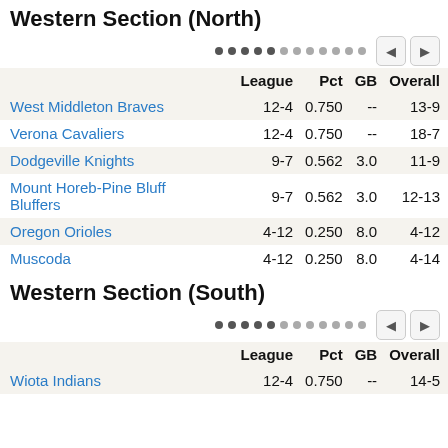Western Section (North)
|  | League | Pct | GB | Overall |
| --- | --- | --- | --- | --- |
| West Middleton Braves | 12-4 | 0.750 | -- | 13-9 |
| Verona Cavaliers | 12-4 | 0.750 | -- | 18-7 |
| Dodgeville Knights | 9-7 | 0.562 | 3.0 | 11-9 |
| Mount Horeb-Pine Bluff Bluffers | 9-7 | 0.562 | 3.0 | 12-13 |
| Oregon Orioles | 4-12 | 0.250 | 8.0 | 4-12 |
| Muscoda | 4-12 | 0.250 | 8.0 | 4-14 |
Western Section (South)
|  | League | Pct | GB | Overall |
| --- | --- | --- | --- | --- |
| Wiota Indians | 12-4 | 0.750 | -- | 14-5 |